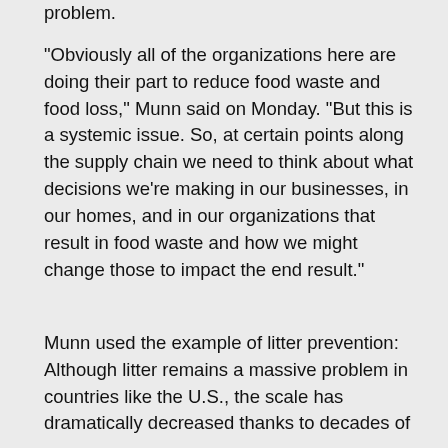problem.
"Obviously all of the organizations here are doing their part to reduce food waste and food loss," Munn said on Monday. "But this is a systemic issue. So, at certain points along the supply chain we need to think about what decisions we're making in our businesses, in our homes, and in our organizations that result in food waste and how we might change those to impact the end result."
Munn used the example of litter prevention: Although litter remains a massive problem in countries like the U.S., the scale has dramatically decreased thanks to decades of